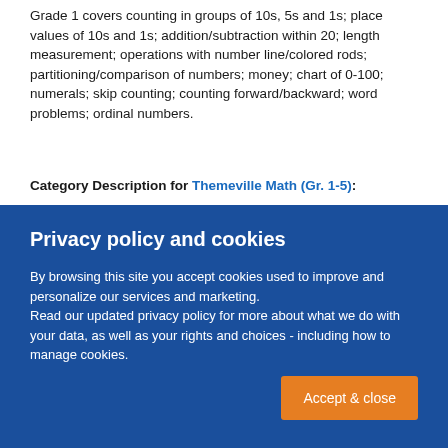Grade 1 covers counting in groups of 10s, 5s and 1s; place values of 10s and 1s; addition/subtraction within 20; length measurement; operations with number line/colored rods; partitioning/comparison of numbers; money; chart of 0-100; numerals; skip counting; counting forward/backward; word problems; ordinal numbers.
Category Description for Themeville Math (Gr. 1-5):
Privacy policy and cookies
By browsing this site you accept cookies used to improve and personalize our services and marketing.
Read our updated privacy policy for more about what we do with your data, as well as your rights and choices - including how to manage cookies.
Accept & close